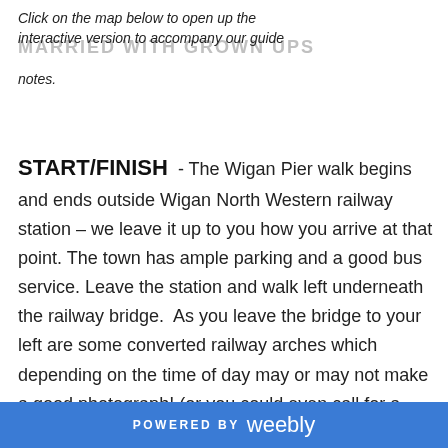MARRIED WITH GROWN UPS
Click on the map below to open up the interactive version to accompany our guide notes.
START/FINISH - The Wigan Pier walk begins and ends outside Wigan North Western railway station – we leave it up to you how you arrive at that point. The town has ample parking and a good bus service. Leave the station and walk left underneath the railway bridge. As you leave the bridge to your left are some converted railway arches which depending on the time of day may or may not make a good photograph! (or you could even call for a drink in Camra Regional pub winner 2017 - Wigan Central). When ready cross at the traffic
POWERED BY weebly